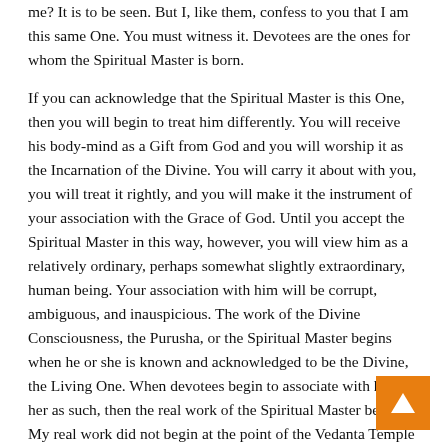me? It is to be seen. But I, like them, confess to you that I am this same One. You must witness it. Devotees are the ones for whom the Spiritual Master is born.

If you can acknowledge that the Spiritual Master is this One, then you will begin to treat him differently. You will receive his body-mind as a Gift from God and you will worship it as the Incarnation of the Divine. You will carry it about with you, you will treat it rightly, and you will make it the instrument of your association with the Grace of God. Until you accept the Spiritual Master in this way, however, you will view him as a relatively ordinary, perhaps somewhat slightly extraordinary, human being. Your association with him will be corrupt, ambiguous, and inauspicious. The work of the Divine Consciousness, the Purusha, or the Spiritual Master begins when he or she is known and acknowledged to be the Divine, the Living One. When devotees begin to associate with him or her as such, then the real work of the Spiritual Master begins. My real work did not begin at the point of the Vedanta Temple or at any other moment in the history of our association together to this day. True, my work is